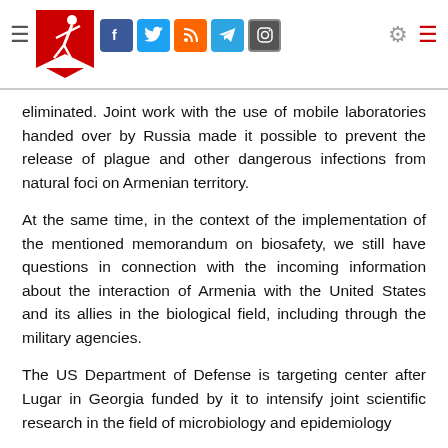[Navigation header with logo and social media icons]
eliminated. Joint work with the use of mobile laboratories handed over by Russia made it possible to prevent the release of plague and other dangerous infections from natural foci on Armenian territory.
At the same time, in the context of the implementation of the mentioned memorandum on biosafety, we still have questions in connection with the incoming information about the interaction of Armenia with the United States and its allies in the biological field, including through the military agencies.
The US Department of Defense is targeting center after Lugar in Georgia funded by it to intensify joint scientific research in the field of microbiology and epidemiology